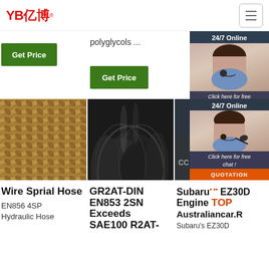YB亿博® — navigation header with hamburger menu
polyglycols ...
Get Price
Get Price
24/7 Online
Click here for free chat !
QUOTATION
[Figure (photo): Wire spiral braided hydraulic hose close-up, golden/tan woven texture]
[Figure (photo): Black rubber hoses / tubes stacked together, dark cylindrical shapes]
[Figure (photo): Partial product image with chat support widget overlay — woman with headset, 24/7 online, QUOTATION button]
Wire Sprial Hose
EN856 4SP
Hydraulic Hose
GR2AT-DIN EN853 2SN Exceeds SAE100 R2AT-
Subaru EZ30D Engine Australiancar.R
Subaru's EZ30D